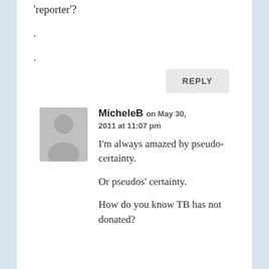'reporter'?
.
.
REPLY
MicheleB on May 30, 2011 at 11:07 pm
I'm always amazed by pseudo-certainty.

Or pseudos' certainty.

How do you know TB has not donated?